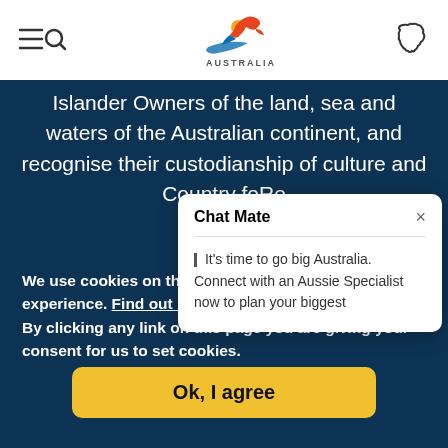[Figure (screenshot): Website header with hamburger/search icon on left, Tourism Australia logo in center, and Australia map outline icon on right]
Islander Owners of the land, sea and waters of the Australian continent, and recognise their custodianship of culture and Country for [Re...]
[Figure (screenshot): Chat Mate popup overlay with text: It's time to go big Australia. Connect with an Aussie Specialist now to plan your biggest]
We use cookies on this site to enhance your user experience. Find out more.
By clicking any link on this page you are giving your consent for us to set cookies.
[Figure (other): Ok, I agree yellow button]